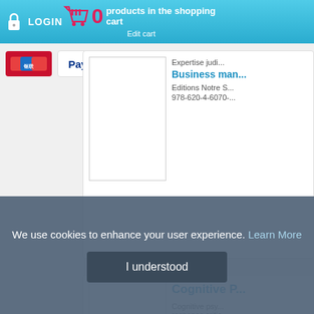LOGIN | 0 products in the shopping cart | Edit cart
[Figure (screenshot): Payment logos: UnionPay, PayPal, Wire Transfer]
Expertise judi...
Business man...
Editions Notre S... 978-620-4-6070-...
Cognitive P...
Cognitive psy... response critic...
General and c... science
Dict (2011-10-0... 6
We use cookies to enhance your user experience. Learn More
I understood